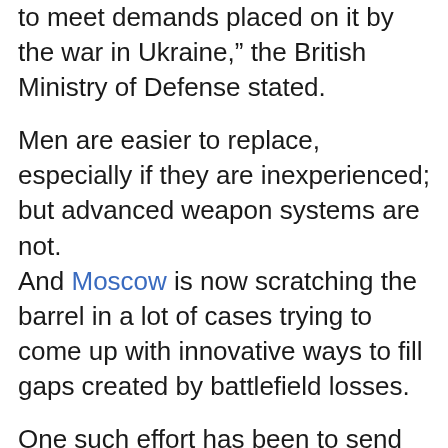to meet demands placed on it by the war in Ukraine," the British Ministry of Defense stated.
Men are easier to replace, especially if they are inexperienced; but advanced weapon systems are not. And Moscow is now scratching the barrel in a lot of cases trying to come up with innovative ways to fill gaps created by battlefield losses.
One such effort has been to send antiquated T-62 main battle tanks to the frontlines. These tanks don't belong to a 21st-century battlefield and